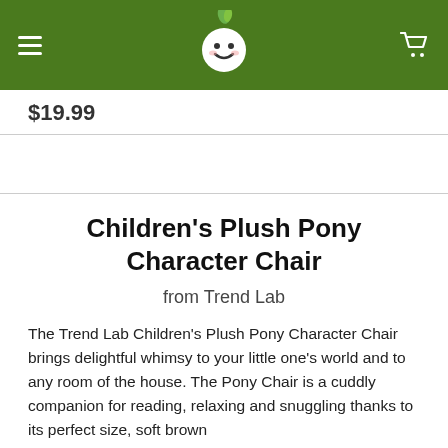Navigation header with hamburger menu, baby logo, and cart icon
$19.99
Children's Plush Pony Character Chair
from Trend Lab
The Trend Lab Children's Plush Pony Character Chair brings delightful whimsy to your little one's world and to any room of the house. The Pony Chair is a cuddly companion for reading, relaxing and snuggling thanks to its perfect size, soft brown